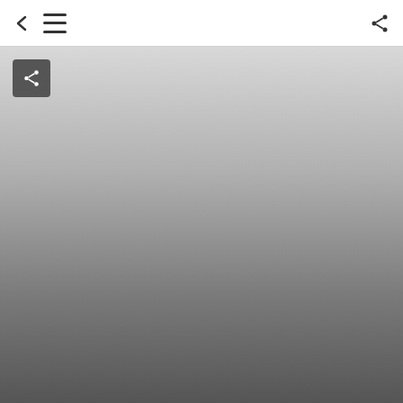[Figure (screenshot): Mobile app interface showing a navigation bar at the top with a back chevron, hamburger menu, and share icon on the right. Below is a large area with a gradient from light gray at the top to dark gray at the bottom. A dark square share button overlay is positioned in the upper-left of the gradient area.]